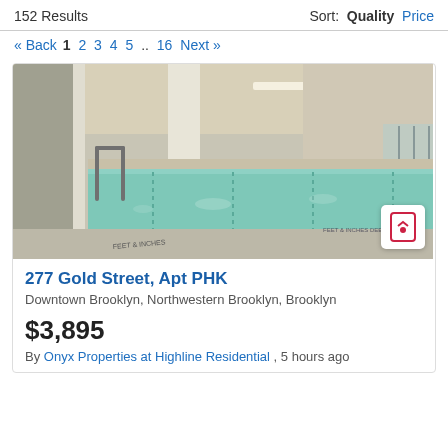152 Results
Sort: Quality Price
« Back 1 2 3 4 5 .. 16 Next »
[Figure (photo): Interior photo of a luxury indoor swimming pool with lane markers, metal railings, tile walls, recessed lighting, and depth markings reading 'FEET & INCHES DEEP'. Modern architecture with columns visible on the left side.]
277 Gold Street, Apt PHK
Downtown Brooklyn, Northwestern Brooklyn, Brooklyn
$3,895
By Onyx Properties at Highline Residential , 5 hours ago